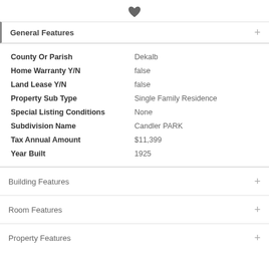[Figure (illustration): Heart/favorite icon centered at top of page]
General Features
| Field | Value |
| --- | --- |
| County Or Parish | Dekalb |
| Home Warranty Y/N | false |
| Land Lease Y/N | false |
| Property Sub Type | Single Family Residence |
| Special Listing Conditions | None |
| Subdivision Name | Candler PARK |
| Tax Annual Amount | $11,399 |
| Year Built | 1925 |
Building Features
Room Features
Property Features